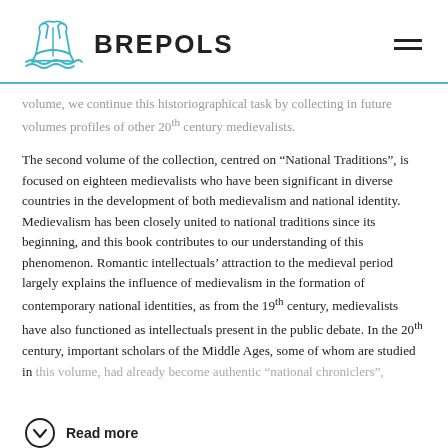[Figure (logo): Brepols publisher logo: teal/cyan line-art book with waves, followed by bold text BREPOLS]
volume, we continue this historiographical task by collecting in future volumes profiles of other 20th century medievalists.
The second volume of the collection, centred on “National Traditions”, is focused on eighteen medievalists who have been significant in diverse countries in the development of both medievalism and national identity. Medievalism has been closely united to national traditions since its beginning, and this book contributes to our understanding of this phenomenon. Romantic intellectuals’ attraction to the medieval period largely explains the influence of medievalism in the formation of contemporary national identities, as from the 19th century, medievalists have also functioned as intellectuals present in the public debate. In the 20th century, important scholars of the Middle Ages, some of whom are studied in this volume, had already become authentic “national chroniclers”,
Read more